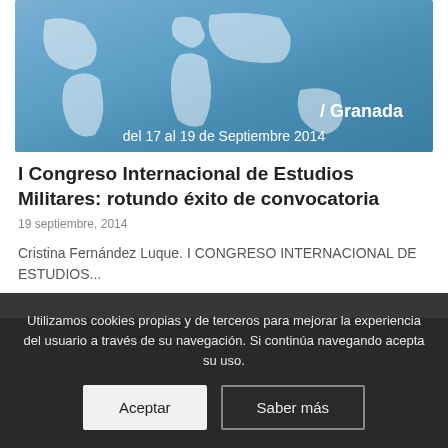[Figure (photo): Event banner for I Congreso Internacional de Estudios Militares in Granada, 17-19 Septiembre 2014, blue background with white world map silhouettes]
I Congreso Internacional de Estudios Militares: rotundo éxito de convocatoria
19 septiembre, 2014
Cristina Fernández Luque. I CONGRESO INTERNACIONAL DE ESTUDIOS...
Utilizamos cookies propias y de terceros para mejorar la experiencia del usuario a través de su navegación. Si continúa navegando acepta su uso.